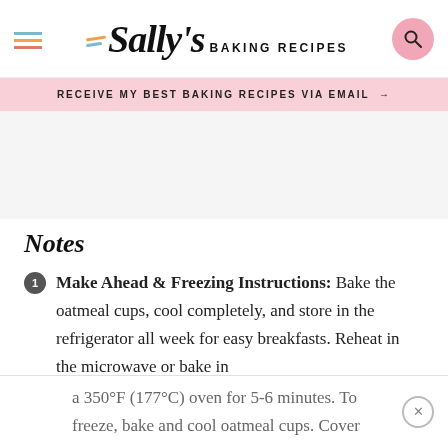Sally's BAKING RECIPES
RECEIVE MY BEST BAKING RECIPES VIA EMAIL →
Notes
Make Ahead & Freezing Instructions: Bake the oatmeal cups, cool completely, and store in the refrigerator all week for easy breakfasts. Reheat in the microwave or bake in
a 350°F (177°C) oven for 5-6 minutes. To freeze, bake and cool oatmeal cups. Cover